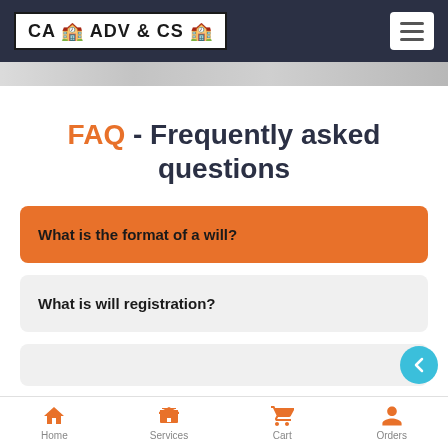CA ADV & CS — navigation bar with logo and hamburger menu
FAQ - Frequently asked questions
What is the format of a will?
What is will registration?
Home | Services | Cart | Orders